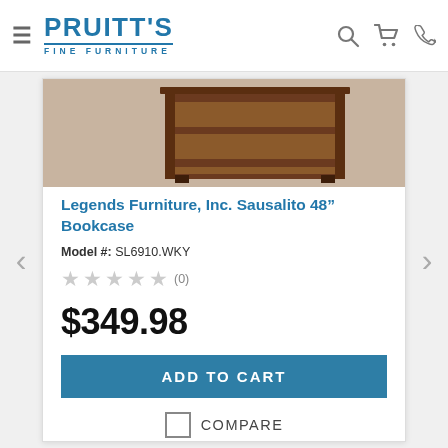[Figure (logo): Pruitt's Fine Furniture logo - blue text with underline and small caps subtitle]
[Figure (photo): Partial view of a brown wooden bookcase on a light background]
Legends Furniture, Inc. Sausalito 48" Bookcase
Model #: SL6910.WKY
★★★★★ (0)
$349.98
ADD TO CART
COMPARE